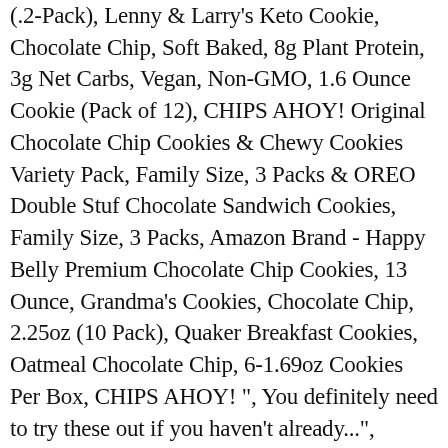(.2-Pack), Lenny & Larry's Keto Cookie, Chocolate Chip, Soft Baked, 8g Plant Protein, 3g Net Carbs, Vegan, Non-GMO, 1.6 Ounce Cookie (Pack of 12), CHIPS AHOY! Original Chocolate Chip Cookies & Chewy Cookies Variety Pack, Family Size, 3 Packs & OREO Double Stuf Chocolate Sandwich Cookies, Family Size, 3 Packs, Amazon Brand - Happy Belly Premium Chocolate Chip Cookies, 13 Ounce, Grandma's Cookies, Chocolate Chip, 2.25oz (10 Pack), Quaker Breakfast Cookies, Oatmeal Chocolate Chip, 6-1.69oz Cookies Per Box, CHIPS AHOY! ", You definitely need to try these out if you haven't already...", They're an impressively tasty sugar-free dessert", We use only clean, keto-friendly ingredients, We carefully source almond flour and coconut flour, We only source healthy, clean ingredients. I cannot ship my cookies. They are keto-friendly, low-carb, and insanely